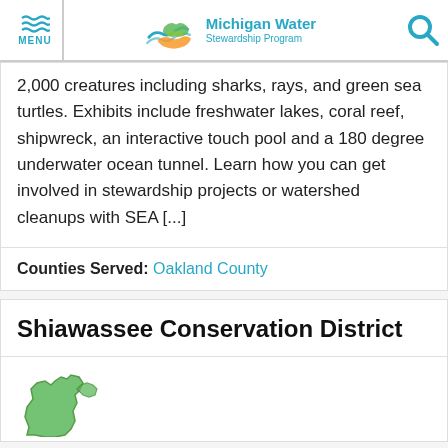Michigan Water Stewardship Program
2,000 creatures including sharks, rays, and green sea turtles. Exhibits include freshwater lakes, coral reef, shipwreck, an interactive touch pool and a 180 degree underwater ocean tunnel. Learn how you can get involved in stewardship projects or watershed cleanups with SEA [...]
Counties Served: Oakland County
Shiawassee Conservation District
[Figure (map): Partial green illustrated map of Michigan's Lower Peninsula]